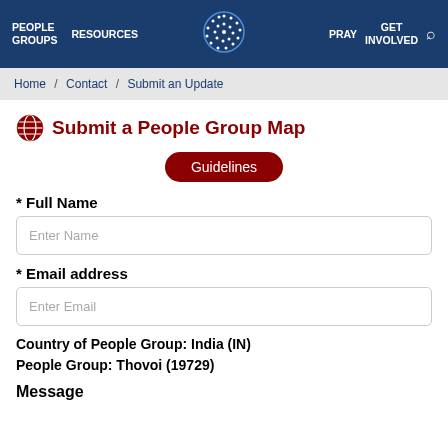PEOPLE GROUPS   RESOURCES   [logo]   PRAY   GET INVOLVED   [search]
Home / Contact / Submit an Update
Submit a People Group Map
Guidelines
* Full Name
Enter Name
* Email address
Enter Email
Country of People Group:  India (IN)
People Group:  Thovoi (19729)
Message